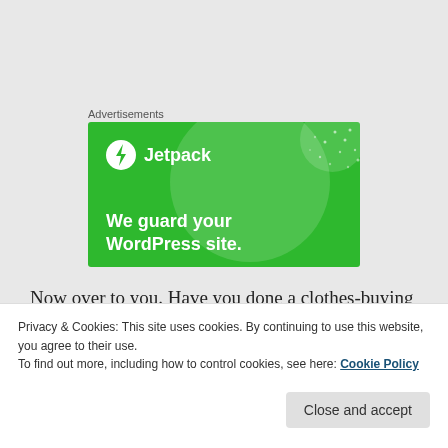Advertisements
[Figure (illustration): Jetpack advertisement banner with green background, Jetpack logo with lightning bolt icon, decorative circles and dots pattern, tagline 'We guard your WordPress site.']
Now over to you. Have you done a clothes-buying fast, and if so, what did you discover? Or are you thinking of trying one? What
Privacy & Cookies: This site uses cookies. By continuing to use this website, you agree to their use.
To find out more, including how to control cookies, see here: Cookie Policy
Close and accept